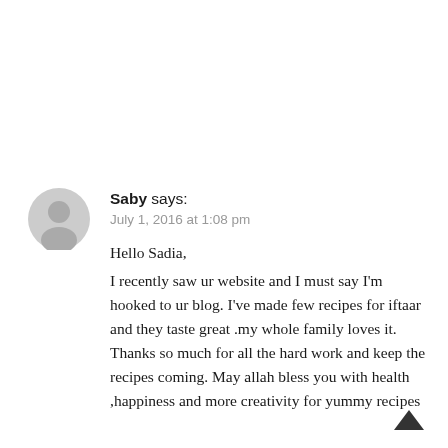Saby says:
July 1, 2016 at 1:08 pm

Hello Sadia,
I recently saw ur website and I must say I'm hooked to ur blog. I've made few recipes for iftaar and they taste great .my whole family loves it. Thanks so much for all the hard work and keep the recipes coming. May allah bless you with health ,happiness and more creativity for yummy recipes